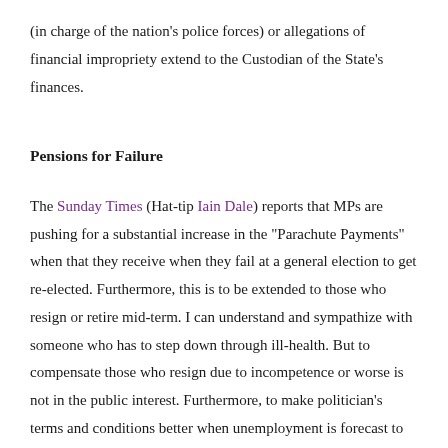(in charge of the nation’s police forces) or allegations of financial impropriety extend to the Custodian of the State’s finances.
Pensions for Failure
The Sunday Times (Hat-tip Iain Dale) reports that MPs are pushing for a substantial increase in the “Parachute Payments” when that they receive when they fail at a general election to get re-elected. Furthermore, this is to be extended to those who resign or retire mid-term. I can understand and sympathize with someone who has to step down through ill-health. But to compensate those who resign due to incompetence or worse is not in the public interest. Furthermore, to make politician’s terms and conditions better when unemployment is forecast to rise by a million in the current year, is not exactly showing solidarity with the working classes.
I admit that MPs are not paid as much in relative terms as their counterparts in Brazil. A British MP has a basic salary of just 6.5 times of a full-time worker on